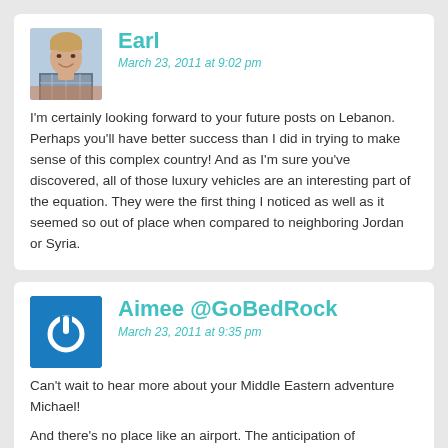[Figure (photo): Avatar photo of Earl, a smiling man in a plaid shirt]
Earl
March 23, 2011 at 9:02 pm
I'm certainly looking forward to your future posts on Lebanon. Perhaps you'll have better success than I did in trying to make sense of this complex country! And as I'm sure you've discovered, all of those luxury vehicles are an interesting part of the equation. They were the first thing I noticed as well as it seemed so out of place when compared to neighboring Jordan or Syria.
[Figure (logo): Blue square avatar with white power button icon for Aimee @GoBedRock]
Aimee @GoBedRock
March 23, 2011 at 9:35 pm
Can't wait to hear more about your Middle Eastern adventure Michael!

And there's no place like an airport. The anticipation of something new, and the unmistakable feeling that you're on the MOVE! Things are happening and you're about to have an experience that can